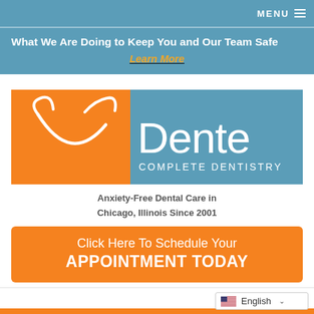MENU
What We Are Doing to Keep You and Our Team Safe
Learn More
[Figure (logo): Dente Complete Dentistry logo — orange square with white dental smile line on left, steel blue rectangle with 'Dente' in large white text and 'COMPLETE DENTISTRY' in smaller white caps on right]
Anxiety-Free Dental Care in Chicago, Illinois Since 2001
Click Here To Schedule Your
APPOINTMENT TODAY
English